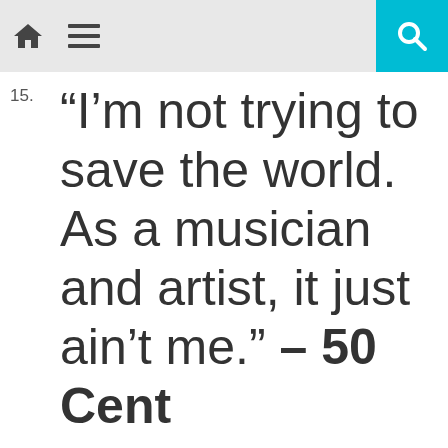[Navigation bar with home icon, menu icon, and search icon]
15. “I’m not trying to save the world. As a musician and artist, it just ain’t me.” – 50 Cent
We use cookies on our website to give you the most relevant experience by remembering your preferences and repeat visits. By clicking “Accept”, you consent to the use of ALL the cookies.